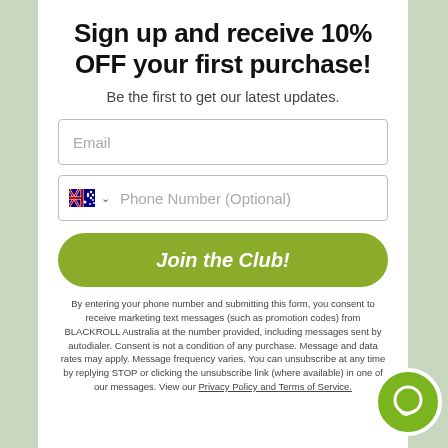Sign up and receive 10% OFF your first purchase!
Be the first to get our latest updates.
Email
Phone Number (Optional)
Join the Club!
By entering your phone number and submitting this form, you consent to receive marketing text messages (such as promotion codes) from BLACKROLL Australia at the number provided, including messages sent by autodialer. Consent is not a condition of any purchase. Message and data rates may apply. Message frequency varies. You can unsubscribe at any time by replying STOP or clicking the unsubscribe link (where available) in one of our messages. View our Privacy Policy and Terms of Service.